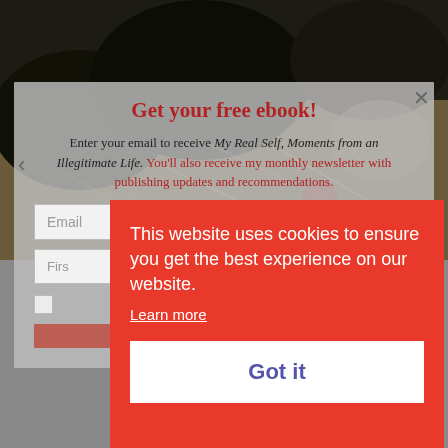[Figure (photo): Background photo of a dark animal (possibly a black cat or dog) among straw/dried grass, partially obscured by modal overlay]
Get your free ebook!
Enter your email to receive My Real Self, Moments from an Illegitimate Life. You'll also receive my monthly newsletter with publishing updates and recommendations.
Email
First
This website uses cookies to ensure you get the best experience on our website.
Learn more
Got it